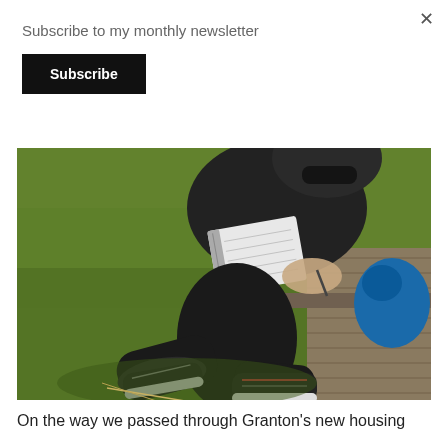Subscribe to my monthly newsletter
Subscribe
[Figure (photo): Person dressed in black sitting on a wooden deck edge, writing in a spiral notebook, with green grass in the background and blue sneakers visible to the right.]
On the way we passed through Granton's new housing